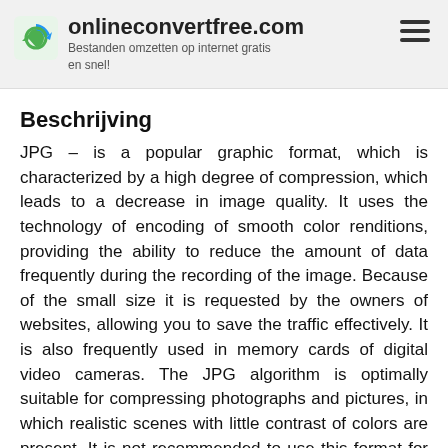onlineconvertfree.com — Bestanden omzetten op internet gratis en snel!
Beschrijving
JPG – is a popular graphic format, which is characterized by a high degree of compression, which leads to a decrease in image quality. It uses the technology of encoding of smooth color renditions, providing the ability to reduce the amount of data frequently during the recording of the image. Because of the small size it is requested by the owners of websites, allowing you to save the traffic effectively. It is also frequently used in memory cards of digital video cameras. The JPG algorithm is optimally suitable for compressing photographs and pictures, in which realistic scenes with little contrast of colors are present. It is not recommended to use this format for compression of drawings and various kinds of graphics, since a strong contrast between a number of closely